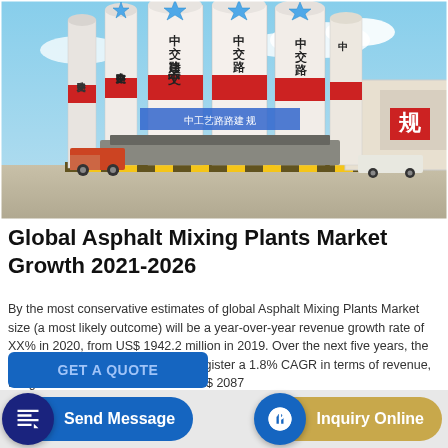[Figure (photo): Industrial asphalt mixing plant with multiple tall white cylindrical silos labeled with Chinese characters (中交路建), red and yellow striped safety markings at base, blue sky with clouds in background, warehouse building visible on right.]
Global Asphalt Mixing Plants Market Growth 2021-2026
By the most conservative estimates of global Asphalt Mixing Plants Market size (a most likely outcome) will be a year-over-year revenue growth rate of XX% in 2020, from US$ 1942.2 million in 2019. Over the next five years, the Asphalt Mixing Plants market will register a 1.8% CAGR in terms of revenue, the global market size will reach US$ 2087
GET A QUOTE
Send Message
Inquiry Online